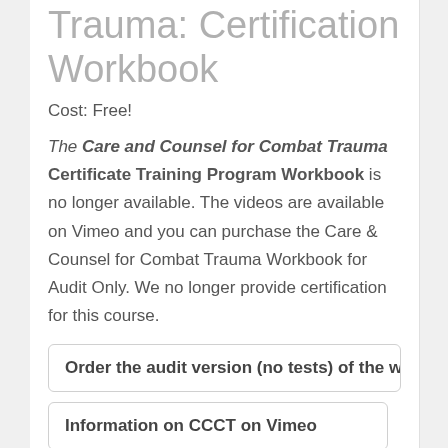Trauma: Certification Workbook
Cost: Free!
The Care and Counsel for Combat Trauma Certificate Training Program Workbook is no longer available. The videos are available on Vimeo and you can purchase the Care & Counsel for Combat Trauma Workbook for Audit Only. We no longer provide certification for this course.
Order the audit version (no tests) of the workbook
Information on CCCT on Vimeo
(partial button visible)